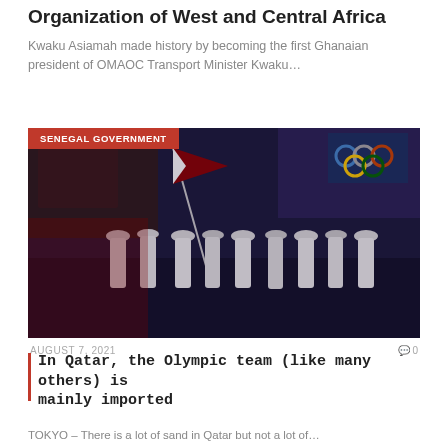Organization of West and Central Africa
Kwaku Asiamah made history by becoming the first Ghanaian president of OMAOC Transport Minister Kwaku…
[Figure (photo): Olympic delegation photo with people in white traditional dress carrying a red and white flag at an Olympic ceremony. A red badge reads 'SENEGAL GOVERNMENT' in the top left.]
AUGUST 7, 2021   🗨 0
In Qatar, the Olympic team (like many others) is mainly imported
TOKYO – There is a lot of sand in Qatar but not a lot of…